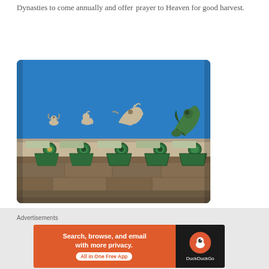Dynasties to come annually and offer prayer to Heaven for good harvest.
[Figure (photo): Close-up photograph of ornate green and white glazed ceramic roof decorations including animal figurines (guardian beasts/chi wen) on a traditional Chinese temple or imperial building rooftop against a bright blue sky.]
Long hallways and grounds covering 1.05 square miles lead to the various temples.
Advertisements
[Figure (screenshot): DuckDuckGo advertisement banner: 'Search, browse, and email with more privacy. All in One Free App' on orange background with DuckDuckGo logo on dark background.]